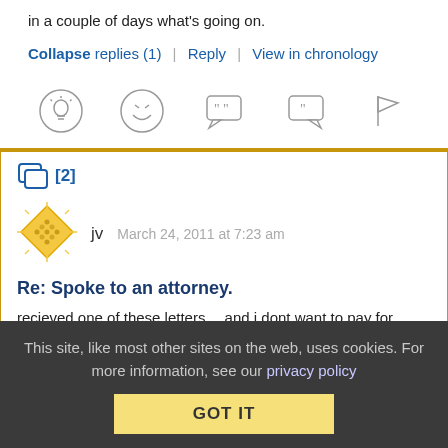in a couple of days what's going on.
Collapse replies (1) | Reply | View in chronology
[Figure (illustration): Row of five icons: lightbulb, laughing emoji, speech bubble with quote marks, speech bubble with quote mark, flag]
[2]
[Figure (illustration): Yellow diamond-shaped user avatar icon with dot grid pattern]
jv   March 24, 2011 at 7:23 am
Re: Spoke to an attorney.
recieved one of these letters… and i dont want to pay for
This site, like most other sites on the web, uses cookies. For more information, see our privacy policy   GOT IT